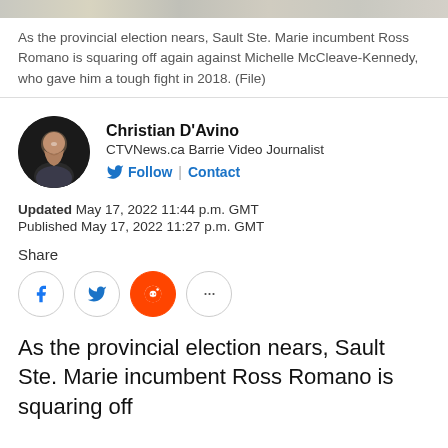[Figure (photo): Top strip of a cropped photo, likely an aerial or outdoor scene with muted colors.]
As the provincial election nears, Sault Ste. Marie incumbent Ross Romano is squaring off again against Michelle McCleave-Kennedy, who gave him a tough fight in 2018. (File)
Christian D'Avino
CTVNews.ca Barrie Video Journalist
Follow | Contact
Updated May 17, 2022 11:44 p.m. GMT
Published May 17, 2022 11:27 p.m. GMT
Share
As the provincial election nears, Sault Ste. Marie incumbent Ross Romano is squaring off